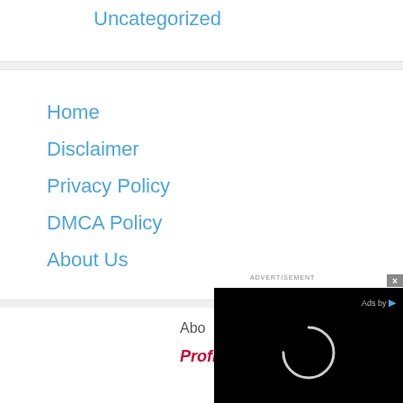Uncategorized
Home
Disclaimer
Privacy Policy
DMCA Policy
About Us
[Figure (screenshot): Advertisement overlay with black background, 'ADVERTISEMENT' label, close button (×), 'Ads by' text with blue dot icon, and a loading spinner circle in center]
Abo
Profiler